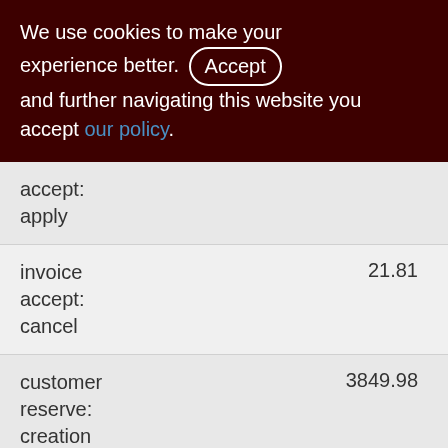We use cookies to make your experience better. By accepting and further navigating this website you accept our policy.
| accept:
apply |  |
| invoice
accept:
cancel | 21.81 |
| customer
reserve:
creation | 3849.98 |
| customer
reserve:
removal | 1497.36 |
| realization | 196.20 |